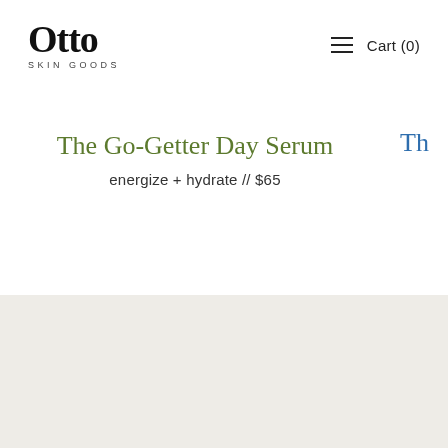Otto SKIN GOODS  Cart (0)
The Go-Getter Day Serum
energize + hydrate // $65